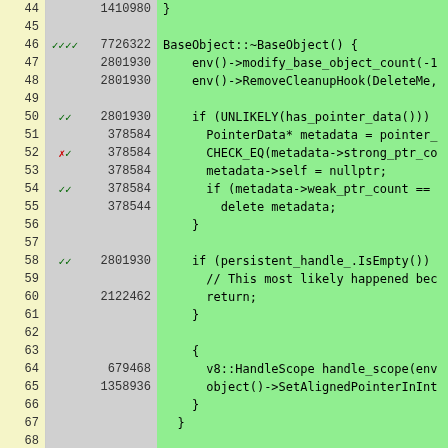[Figure (screenshot): Code coverage view showing C++ source lines 44-70 with line numbers, coverage marks (checkmarks/X), execution counts, and source code. Green rows are covered, grey are uncovered or empty.]